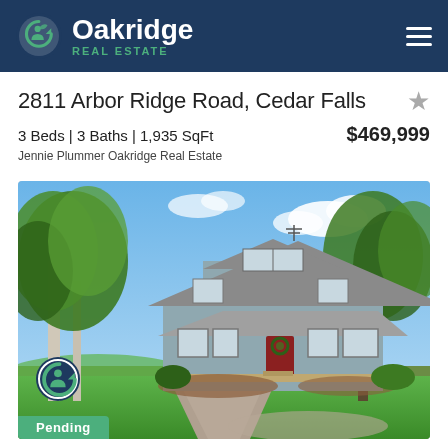Oakridge Real Estate
2811 Arbor Ridge Road, Cedar Falls
3 Beds | 3 Baths | 1,935 SqFt   $469,999
Jennie Plummer Oakridge Real Estate
[Figure (photo): Exterior photo of a blue two-story farmhouse with a covered porch, wreath on the front door, surrounded by large green trees and a gravel driveway, with a blue sky and clouds in the background. An Oakridge Real Estate logo badge is in the bottom-left corner with a 'Pending' green badge.]